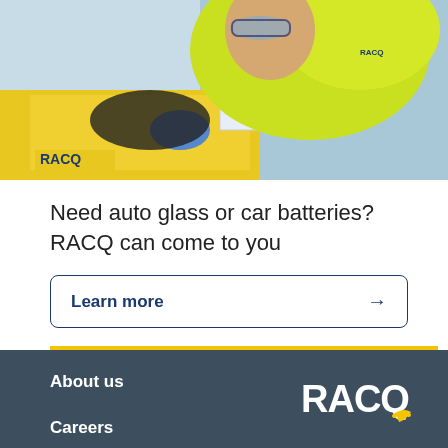[Figure (photo): RACQ technician in hi-vis yellow shirt and safety goggles working on auto glass repair, with RACQ van and 'Auto Glass' box visible in the background]
Need auto glass or car batteries? RACQ can come to you
Learn more →
About us
Careers
[Figure (logo): RACQ logo with yellow checkmark/tick]